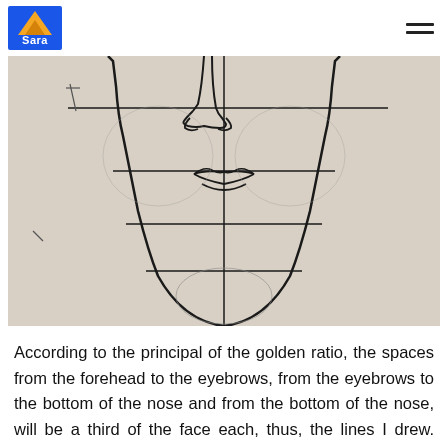Sara
[Figure (illustration): A pencil sketch of a human face showing the lower portion from nose to chin, with horizontal construction lines dividing the face into thirds and a vertical center line. The sketch shows the nose, lips/mouth area, and chin with circular proportion guides and straight construction lines.]
According to the principal of the golden ratio, the spaces from the forehead to the eyebrows, from the eyebrows to the bottom of the nose and from the bottom of the nose, will be a third of the face each, thus, the lines I drew. Each